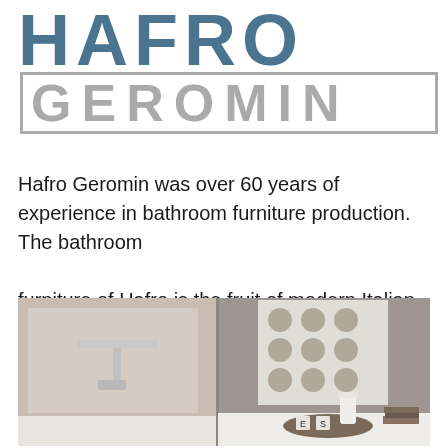HAFRO GEROMIN
Hafro Geromin was over 60 years of experience in bathroom furniture production. The bathroom furniture of Hafro is the fruit of modern Italian design and a combination of innovative materials.
[Figure (photo): Bathroom furniture photo showing a modern white basin/faucet on the left panel and bathroom accessories including a white jug, tray with items, and books on a white surface on the right panel, against a grey background with a decorative circular pattern panel.]